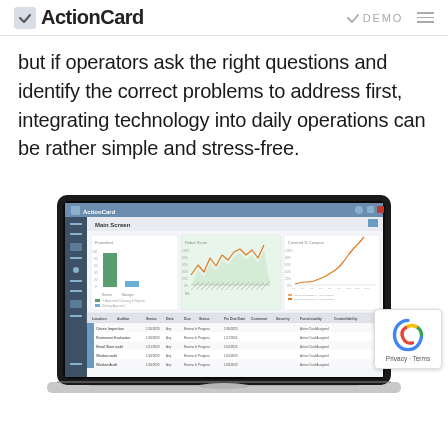ActionCard — DEMO
but if operators ask the right questions and identify the correct problems to address first, integrating technology into daily operations can be rather simple and stress-free.
[Figure (screenshot): Screenshot of ActionCard web application dashboard shown inside a laptop mockup. The dashboard shows 'Main Screen' with three panels: a bar chart labeled 'Furnished', a line chart labeled 'Robot Score' with orange fluctuating line on green shaded background, and a line chart labeled 'Covered % Campus'. Below the charts is a data table with columns including Location, Auditor, Status, Date, Due, Status, Fix Due Date, Comment, Severity, and Functionality. Several rows of data are visible in the table.]